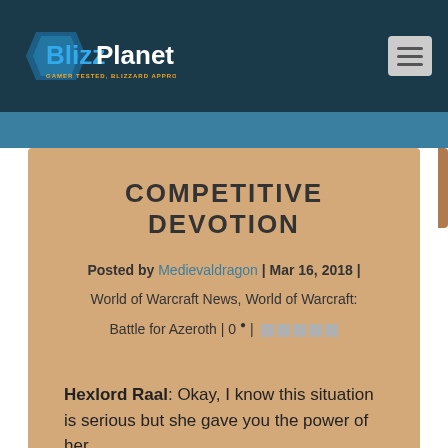BlizzPlanet — GAMER TESTED, BLIZZARD APPROVED
COMPETITIVE DEVOTION
Posted by Medievaldragon | Mar 16, 2018 | World of Warcraft News, World of Warcraft: Battle for Azeroth | 0 |
Hexlord Raal: Okay, I know this situation is serious but she gave you the power of her